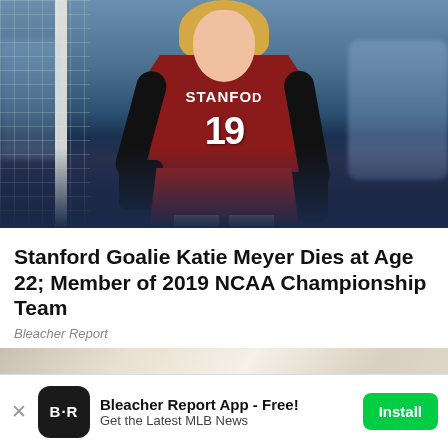[Figure (photo): Stanford women's soccer player Katie Meyer (#19) in dark red uniform with black goalkeeper gloves, in action on the field near a goalpost with net visible on left side.]
Stanford Goalie Katie Meyer Dies at Age 22; Member of 2019 NCAA Championship Team
Bleacher Report
[Figure (photo): Close-up photo of what appears to be a signed item with handwritten text/autograph in blue ink, with a dark wooden background and green clip visible.]
Bleacher Report App - Free!
Get the Latest MLB News